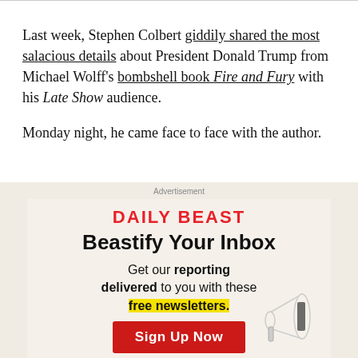Last week, Stephen Colbert giddily shared the most salacious details about President Donald Trump from Michael Wolff's bombshell book Fire and Fury with his Late Show audience.
Monday night, he came face to face with the author.
[Figure (infographic): Daily Beast advertisement: 'Beastify Your Inbox — Get our reporting delivered to you with these free newsletters.' with a Sign Up Now button and megaphone graphic on a tan/beige background.]